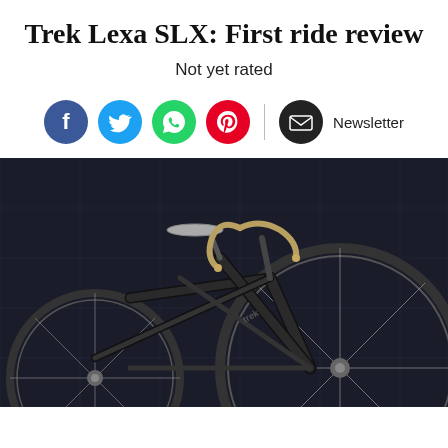Trek Lexa SLX: First ride review
Not yet rated
[Figure (infographic): Social media share icons: Facebook (blue), Twitter (blue), WhatsApp (green), Pinterest (red), Email/Newsletter (black) with Newsletter label]
[Figure (photo): Trek Lexa SLX road bike photographed against a dark tiled background, showing gold/black handlebar tape, black frame with logo, saddle, and wheel spokes]